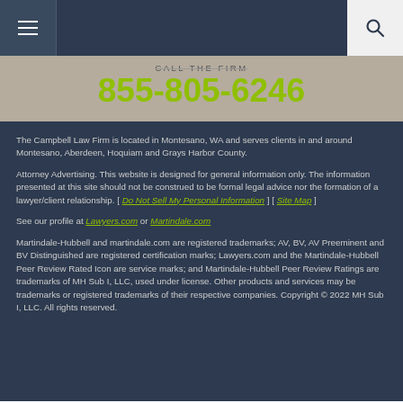Navigation bar with hamburger menu and search button
CALL THE FIRM
855-805-6246
The Campbell Law Firm is located in Montesano, WA and serves clients in and around Montesano, Aberdeen, Hoquiam and Grays Harbor County.
Attorney Advertising. This website is designed for general information only. The information presented at this site should not be construed to be formal legal advice nor the formation of a lawyer/client relationship. [ Do Not Sell My Personal Information ] [ Site Map ]
See our profile at Lawyers.com or Martindale.com
Martindale-Hubbell and martindale.com are registered trademarks; AV, BV, AV Preeminent and BV Distinguished are registered certification marks; Lawyers.com and the Martindale-Hubbell Peer Review Rated Icon are service marks; and Martindale-Hubbell Peer Review Ratings are trademarks of MH Sub I, LLC, used under license. Other products and services may be trademarks or registered trademarks of their respective companies. Copyright © 2022 MH Sub I, LLC. All rights reserved.